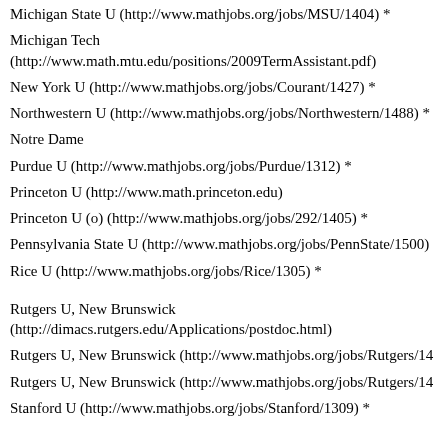Michigan State U (http://www.mathjobs.org/jobs/MSU/1404) *
Michigan Tech (http://www.math.mtu.edu/positions/2009TermAssistant.pdf)
New York U (http://www.mathjobs.org/jobs/Courant/1427) *
Northwestern U (http://www.mathjobs.org/jobs/Northwestern/1488) *
Notre Dame
Purdue U (http://www.mathjobs.org/jobs/Purdue/1312) *
Princeton U (http://www.math.princeton.edu)
Princeton U (o) (http://www.mathjobs.org/jobs/292/1405) *
Pennsylvania State U (http://www.mathjobs.org/jobs/PennState/1500)
Rice U (http://www.mathjobs.org/jobs/Rice/1305) *
Rutgers U, New Brunswick (http://dimacs.rutgers.edu/Applications/postdoc.html)
Rutgers U, New Brunswick (http://www.mathjobs.org/jobs/Rutgers/1...)
Rutgers U, New Brunswick (http://www.mathjobs.org/jobs/Rutgers/1...)
Stanford U (http://www.mathjobs.org/jobs/Stanford/1309) *